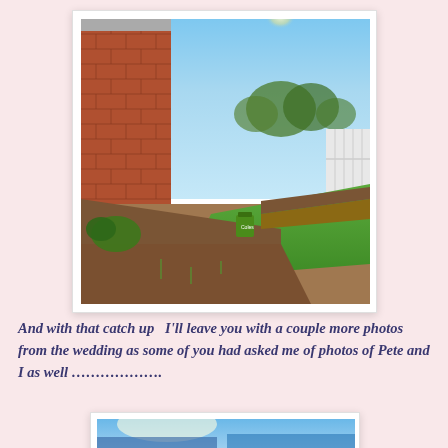[Figure (photo): Outdoor backyard photo showing raised garden beds made of timber sleepers, a patch of green grass, a red brick wall on the left side, a white fence on the right, and trees in the background under a bright blue sky.]
And with that catch up  I'll leave you with a couple more photos from the wedding as some of you had asked me of photos of Pete and I as well ……………….
[Figure (photo): Partial view of a second photo, partially cut off at the bottom of the page, showing a bright outdoor scene.]